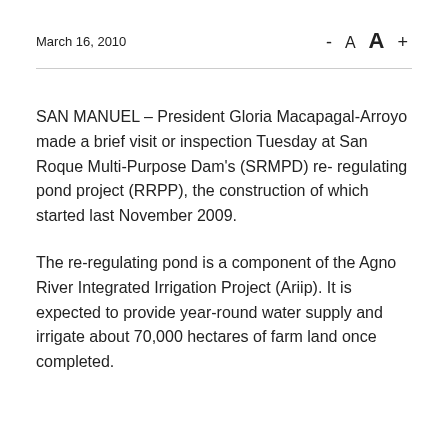March 16, 2010
SAN MANUEL – President Gloria Macapagal-Arroyo made a brief visit or inspection Tuesday at San Roque Multi-Purpose Dam's (SRMPD) re- regulating pond project (RRPP), the construction of which started last November 2009.
The re-regulating pond is a component of the Agno River Integrated Irrigation Project (Ariip). It is expected to provide year-round water supply and irrigate about 70,000 hectares of farm land once completed.